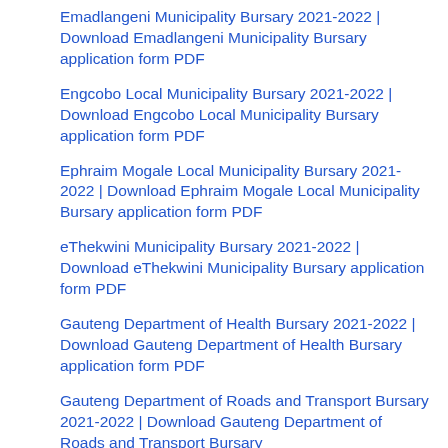Emadlangeni Municipality Bursary 2021-2022 | Download Emadlangeni Municipality Bursary application form PDF
Engcobo Local Municipality Bursary 2021-2022 | Download Engcobo Local Municipality Bursary application form PDF
Ephraim Mogale Local Municipality Bursary 2021-2022 | Download Ephraim Mogale Local Municipality Bursary application form PDF
eThekwini Municipality Bursary 2021-2022 | Download eThekwini Municipality Bursary application form PDF
Gauteng Department of Health Bursary 2021-2022 | Download Gauteng Department of Health Bursary application form PDF
Gauteng Department of Roads and Transport Bursary 2021-2022 | Download Gauteng Department of Roads and Transport Bursary